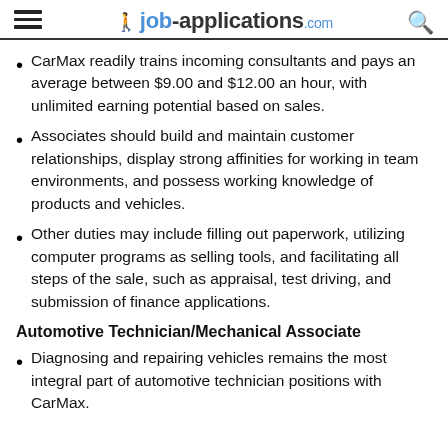job-applications.com
CarMax readily trains incoming consultants and pays an average between $9.00 and $12.00 an hour, with unlimited earning potential based on sales.
Associates should build and maintain customer relationships, display strong affinities for working in team environments, and possess working knowledge of products and vehicles.
Other duties may include filling out paperwork, utilizing computer programs as selling tools, and facilitating all steps of the sale, such as appraisal, test driving, and submission of finance applications.
Automotive Technician/Mechanical Associate
Diagnosing and repairing vehicles remains the most integral part of automotive technician positions with CarMax.